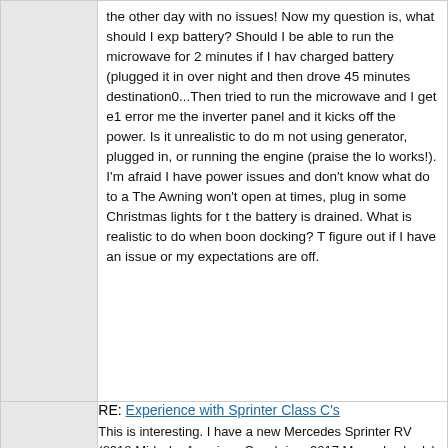the other day with no issues! Now my question is, what should I expect from my battery? Should I be able to run the microwave for 2 minutes if I have a fully charged battery (plugged it in over night and then drove 45 minutes to our destination0...Then tried to run the microwave and I get e1 error message on the inverter panel and it kicks off the power. Is it unrealistic to do microwave when not using generator, plugged in, or running the engine (praise the lord that works!). I'm afraid I have power issues and don't know what do to about them. The Awning won't open at times, plug in some Christmas lights for the night and the battery is drained. What is realistic to do when boon docking? Trying to figure out if I have an issue or my expectations are off.
RE: Experience with Sprinter Class C's
This is interesting. I have a new Mercedes Sprinter RV (2018 Midwest by American Coach in a 2017 Mercedes body) and have been having issues with the coach, not Mercedes installed parts or any engine issues. But this post does concern me for future repairs. I guess I will take it to a Mercedes dealership when I have issues and hope they are reasonable.
RE: Power issues 2018 AmericanCoach MidwestPatriot
Hi Doug, Wanted to give you an update since you have been so helpful. Midwest gave us a call back and he has been consulting with my RV technician. Concerning the air conditioning kicking off because the voltage drops when the generator is running: They tested the voltage with the generator running and determined that most likely my inverter needs to be replaced ($1100 one) but needs a new panel because concerned that if we buy the same model we will have the same problem: whomp whomp) They can't be 100%sure that is the issue but that is their best guess. Concerning the battery not charging while we are driving: Eric says that there was a BIM/BGI installed that the manufacture originally thought was needed to protect the battery and now they